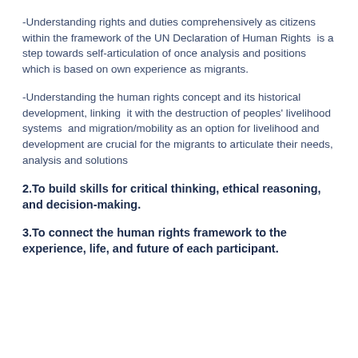-Understanding rights and duties comprehensively as citizens within the framework of the UN Declaration of Human Rights  is a step towards self-articulation of once analysis and positions which is based on own experience as migrants.
-Understanding the human rights concept and its historical development, linking  it with the destruction of peoples' livelihood systems  and migration/mobility as an option for livelihood and development are crucial for the migrants to articulate their needs, analysis and solutions
2.To build skills for critical thinking, ethical reasoning, and decision-making.
3.To connect the human rights framework to the experience, life, and future of each participant.